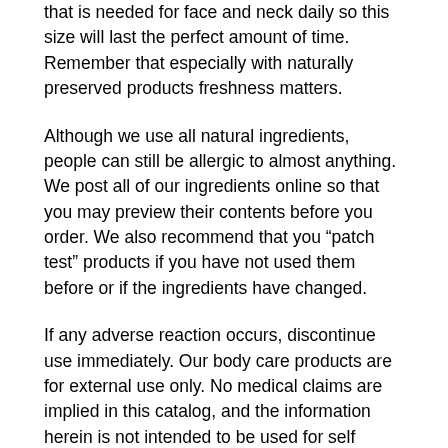that is needed for face and neck daily so this size will last the perfect amount of time. Remember that especially with naturally preserved products freshness matters.
Although we use all natural ingredients, people can still be allergic to almost anything. We post all of our ingredients online so that you may preview their contents before you order. We also recommend that you “patch test” products if you have not used them before or if the ingredients have changed.
If any adverse reaction occurs, discontinue use immediately. Our body care products are for external use only. No medical claims are implied in this catalog, and the information herein is not intended to be used for self diagnosis or self treatment of any condition. None of the information provided is meant to act as a prescription, medical advice or therapeutic advice. No Rainwater Botanicals product is intended to diagnose, treat, cure or prevent any disease. Rainwater Botanicals products NOT for consumption.